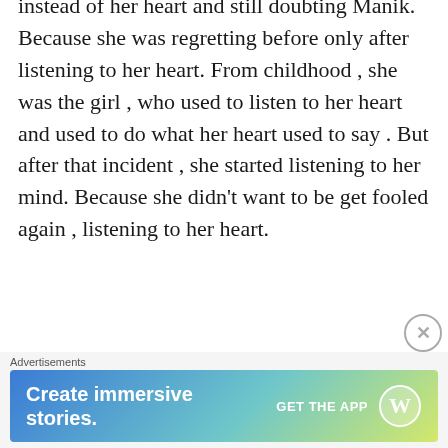instead of her heart and still doubting Manik. Because she was regretting before only after listening to her heart. From childhood , she was the girl , who used to listen to her heart and used to do what her heart used to say . But after that incident , she started listening to her mind. Because she didn't want to be get fooled again , listening to her heart.
Her phone beeped up and she came on the earth back. The phone was in her hand only. She saw the notification and got to know that Manik messaged her on Instagram. She opened his message and smile came on her face f...
Advertisements
[Figure (other): WordPress app advertisement banner. Blue-to-green-yellow gradient background. Text: 'Create immersive stories.' with 'GET THE APP' and WordPress logo on the right.]